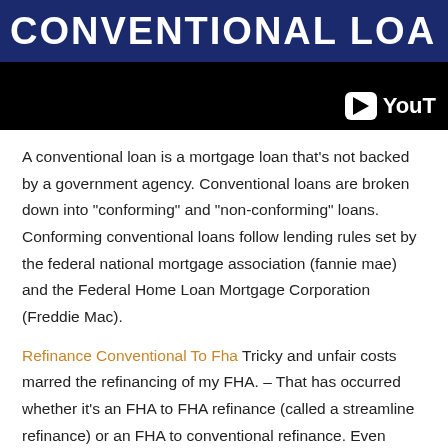[Figure (screenshot): YouTube video thumbnail showing 'CONVENTIONAL LOA...' title in white bold text on dark blue background, with YouTube play button logo in bottom right corner on black background.]
A conventional loan is a mortgage loan that's not backed by a government agency. Conventional loans are broken down into "conforming" and "non-conforming" loans. Conforming conventional loans follow lending rules set by the federal national mortgage association (fannie mae) and the Federal Home Loan Mortgage Corporation (Freddie Mac).
Refinance Conventional To Fha Tricky and unfair costs marred the refinancing of my FHA. – That has occurred whether it's an FHA to FHA refinance (called a streamline refinance) or an FHA to conventional refinance. Even savvy borrowers like me weren't aware of what was happening. I didn't notice it the first time I refinanced my FHA loan. With so many closing costs, it's always